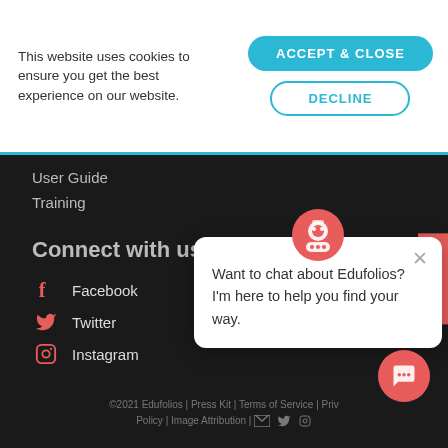This website uses cookies to ensure you get the best experience on our website.
ACCEPT & CLOSE
DECLINE
User Guide
Training
Connect with us
Facebook
Twitter
Instagram
YouTube
Email
Want to chat about Edufolios? I'm here to help you find your way.
©2021 Edufolios | Press Kit | Terms of Service | Privacy Policy | Image Attribution |